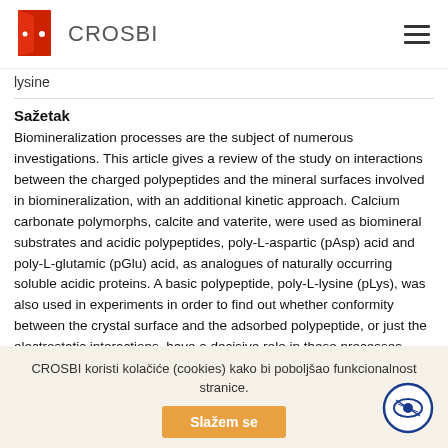CROSBI
lysine
Sažetak
Biomineralization processes are the subject of numerous investigations. This article gives a review of the study on interactions between the charged polypeptides and the mineral surfaces involved in biomineralization, with an additional kinetic approach. Calcium carbonate polymorphs, calcite and vaterite, were used as biomineral substrates and acidic polypeptides, poly-L-aspartic (pAsp) acid and poly-L-glutamic (pGlu) acid, as analogues of naturally occurring soluble acidic proteins. A basic polypeptide, poly-L-lysine (pLys), was also used in experiments in order to find out whether conformity between the crystal surface and the adsorbed polypeptide, or just the electrostatic interactions, have a decisive role in these processes. Precipitation studies of processes in living organisms were run at the initial supersaturation
CROSBI koristi kolačiće (cookies) kako bi poboljšao funkcionalnost stranice.